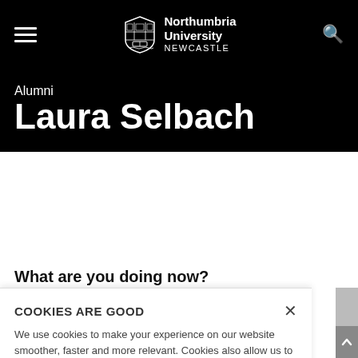Northumbria University NEWCASTLE
Alumni
Laura Selbach
Career Path: Manager, Detecon International
Location: Frankfurt, Germany
What are you doing now?
COOKIES ARE GOOD
We use cookies to make your experience on our website smoother, faster and more relevant. Cookies also allow us to see what people do when they are on our site and help us